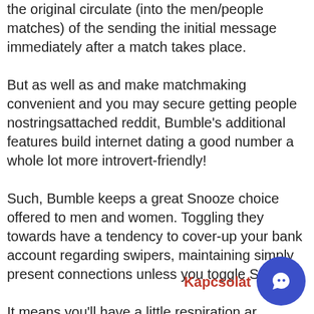the original circulate (into the men/people matches) of the sending the initial message immediately after a match takes place.
But as well as and make matchmaking convenient and you may secure getting people nostringsattached reddit, Bumble's additional features build internet dating a good number a whole lot more introvert-friendly!
Such, Bumble keeps a great Snooze choice offered to men and women. Toggling they towards have a tendency to cover-up your bank account regarding swipers, maintaining simply present connections unless you toggle Snooze
It means you'll have a little respiration ar whenever one thing get an excessive